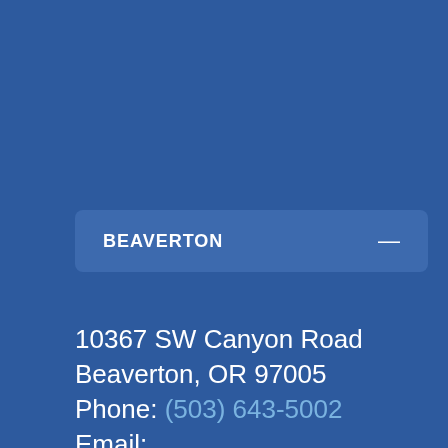BEAVERTON
10367 SW Canyon Road
Beaverton, OR 97005
Phone: (503) 643-5002
Email: beaverton@oregonhottub.com
Get Directions • Read Reviews
OUR HOURS
Monday – Friday: 10am to 7pm
Saturday: 10am to 6pm
Sunday: 11am to 5pm